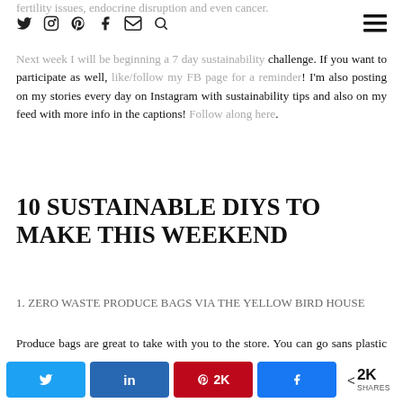fertility issues, endocrine disruption and even cancer.
[social media icons: twitter, instagram, pinterest, facebook, email, search] [hamburger menu]
Next week I will be beginning a 7 day sustainability challenge. If you want to participate as well, like/follow my FB page for a reminder! I'm also posting on my stories every day on Instagram with sustainability tips and also on my feed with more info in the captions! Follow along here.
10 SUSTAINABLE DIYS TO MAKE THIS WEEKEND
1. ZERO WASTE PRODUCE BAGS VIA THE YELLOW BIRD HOUSE
Produce bags are great to take with you to the store. You can go sans plastic bag for most things (you peel a banana anyway, it doesn't really need a produce bag), but
[Share buttons: Twitter, LinkedIn, Pinterest 2K, Facebook] < 2K SHARES